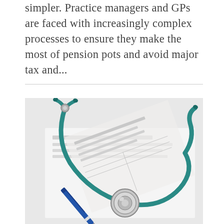simpler. Practice managers and GPs are faced with increasingly complex processes to ensure they make the most of pension pots and avoid major tax and...
[Figure (photo): A stethoscope and a blue pen resting on top of medical/insurance paperwork forms, photographed from above on a white background.]